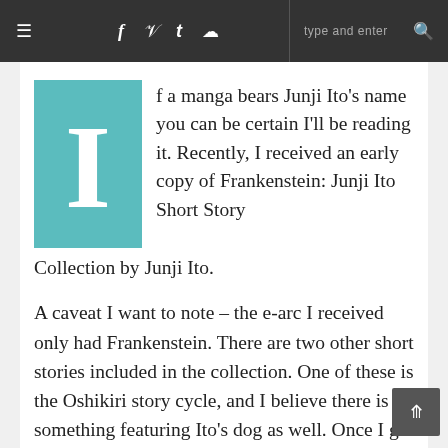≡  f  𝓽  t  ☷  type and enter  🔍
If a manga bears Junji Ito's name you can be certain I'll be reading it. Recently, I received an early copy of Frankenstein: Junji Ito Short Story Collection by Junji Ito.
A caveat I want to note – the e-arc I received only had Frankenstein. There are two other short stories included in the collection. One of these is the Oshikiri story cycle, and I believe there is something featuring Ito's dog as well. Once I get a copy of the final copy this review will be updated to include my thoughts on this